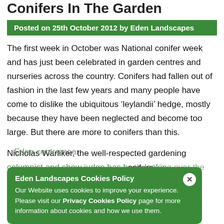Conifers In The Garden
Posted on 25th October 2012 by Eden Landscapes
The first week in October was National conifer week and has just been celebrated in garden centres and nurseries across the country. Conifers had fallen out of fashion in the last few years and many people have come to dislike the ubiquitous ‘leylandii’ hedge, mostly because they have been neglected and become too large. But there are more to conifers than this.
Nicholas Warliker, the well-respected gardening columnist and show judge has been looking over the [partial, obscured by cookie popup]
Eden Landscapes Cookies Policy
Our Website uses cookies to improve your experience. Please visit our Privacy Cookies Policy page for more information about cookies and how we use them.